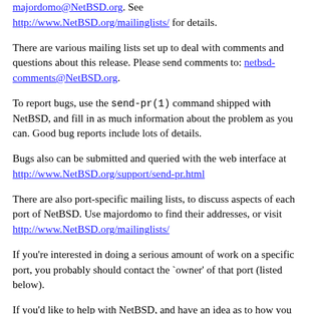majordomo@NetBSD.org. See http://www.NetBSD.org/mailinglists/ for details.
There are various mailing lists set up to deal with comments and questions about this release. Please send comments to: netbsd-comments@NetBSD.org.
To report bugs, use the send-pr(1) command shipped with NetBSD, and fill in as much information about the problem as you can. Good bug reports include lots of details.
Bugs also can be submitted and queried with the web interface at http://www.NetBSD.org/support/send-pr.html
There are also port-specific mailing lists, to discuss aspects of each port of NetBSD. Use majordomo to find their addresses, or visit http://www.NetBSD.org/mailinglists/
If you're interested in doing a serious amount of work on a specific port, you probably should contact the `owner' of that port (listed below).
If you'd like to help with NetBSD, and have an idea as to how you could be useful, send us mail or subscribe to: netbsd-users@NetBSD.org.